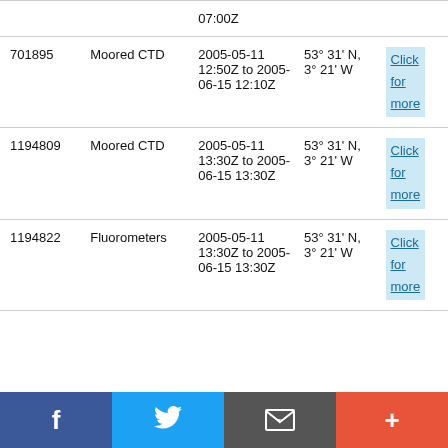| ID | Type | Date Range | Location | Link |
| --- | --- | --- | --- | --- |
|  |  | 07:00Z |  |  |
| 701895 | Moored CTD | 2005-05-11 12:50Z to 2005-06-15 12:10Z | 53° 31' N, 3° 21' W | Click for more |
| 1194809 | Moored CTD | 2005-05-11 13:30Z to 2005-06-15 13:30Z | 53° 31' N, 3° 21' W | Click for more |
| 1194822 | Fluorometers | 2005-05-11 13:30Z to 2005-06-15 13:30Z | 53° 31' N, 3° 21' W | Click for more |
[Figure (infographic): Social media sharing bar with Facebook, Twitter, email, and plus buttons]